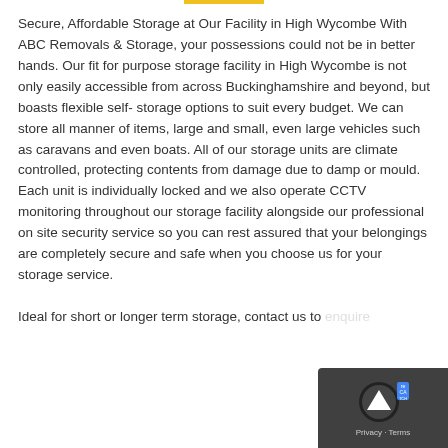Secure, Affordable Storage at Our Facility in High Wycombe With ABC Removals & Storage, your possessions could not be in better hands. Our fit for purpose storage facility in High Wycombe is not only easily accessible from across Buckinghamshire and beyond, but boasts flexible self-storage options to suit every budget. We can store all manner of items, large and small, even large vehicles such as caravans and even boats. All of our storage units are climate controlled, protecting contents from damage due to damp or mould. Each unit is individually locked and we also operate CCTV monitoring throughout our storage facility alongside our professional on site security service so you can rest assured that your belongings are completely secure and safe when you choose us for your storage service.

Ideal for short or longer term storage, contact us to enquire